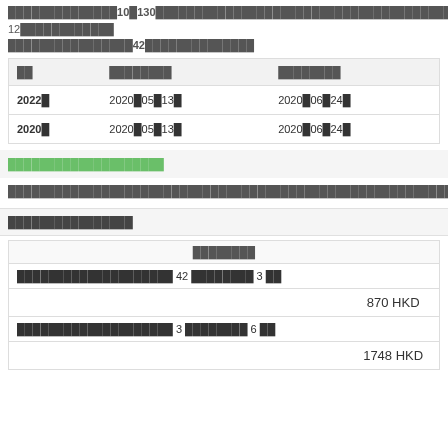██████████████10▌█130██████████████████████████████████████████████████████████ 12████████████ ████████████████████42██████████████
| ██ | ████████ | ████████ |
| --- | --- | --- |
| 2022█ | 2020█05█13█ | 2020█06█24█ |
| 2020█ | 2020█05█13█ | 2020█06█24█ |
████████████████████
██████████████████████████████████████████████████████████████████████████████
████████████████
| ████████ |
| --- |
| ████████████████████ 42 ████████ 3 ██ |
| 870 HKD |
| ████████████████████ 3 ████████ 6 ██ |
| 1748 HKD |
1748 HKD